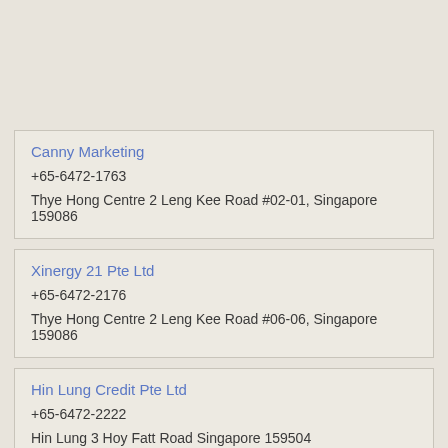Canny Marketing
+65-6472-1763
Thye Hong Centre 2 Leng Kee Road #02-01, Singapore 159086
Xinergy 21 Pte Ltd
+65-6472-2176
Thye Hong Centre 2 Leng Kee Road #06-06, Singapore 159086
Hin Lung Credit Pte Ltd
+65-6472-2222
Hin Lung 3 Hoy Fatt Road Singapore 159504